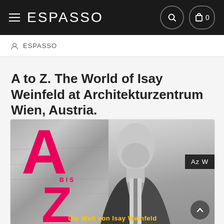ESPASSO
ESPASSO
A to Z. The World of Isay Weinfeld at Architekturzentrum Wien, Austria.
[Figure (photo): Promotional image for 'A to Z. The World of Isay Weinfeld' exhibition at Architekturzentrum Wien. Features large pink letters A and Z with the word 'BIS' in between, overlaid on a black and white photograph of a man (Isay Weinfeld) against a stone wall background. Yellow text at the bottom reads 'Die Welt von Isay Weinfeld'. Az W logo label in top right corner.]